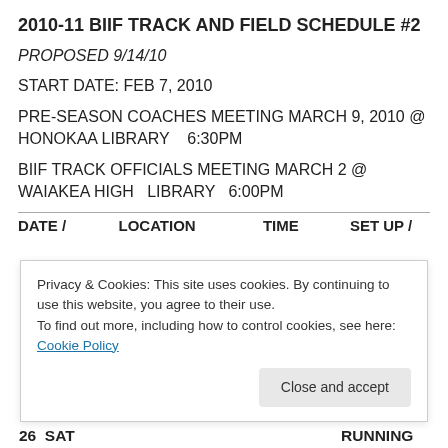2010-11 BIIF TRACK AND FIELD SCHEDULE #2
PROPOSED 9/14/10
START DATE: FEB 7, 2010
PRE-SEASON COACHES MEETING MARCH 9, 2010 @ HONOKAA LIBRARY   6:30PM
BIIF TRACK OFFICIALS MEETING MARCH 2 @ WAIAKEA HIGH  LIBRARY  6:00PM
| DATE / | LOCATION | TIME | SET UP / |
| --- | --- | --- | --- |
| 26  SAT |  |  | RUNNING |
Privacy & Cookies: This site uses cookies. By continuing to use this website, you agree to their use. To find out more, including how to control cookies, see here: Cookie Policy